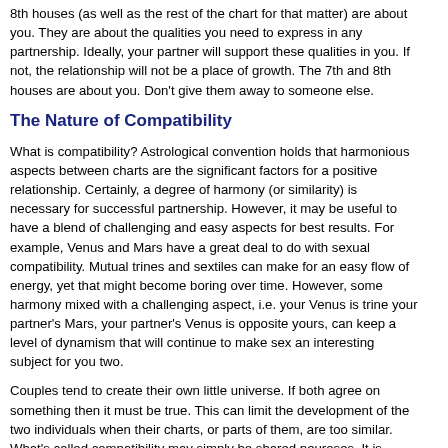8th houses (as well as the rest of the chart for that matter) are about you. They are about the qualities you need to express in any partnership. Ideally, your partner will support these qualities in you. If not, the relationship will not be a place of growth. The 7th and 8th houses are about you. Don't give them away to someone else.
The Nature of Compatibility
What is compatibility? Astrological convention holds that harmonious aspects between charts are the significant factors for a positive relationship. Certainly, a degree of harmony (or similarity) is necessary for successful partnership. However, it may be useful to have a blend of challenging and easy aspects for best results. For example, Venus and Mars have a great deal to do with sexual compatibility. Mutual trines and sextiles can make for an easy flow of energy, yet that might become boring over time. However, some harmony mixed with a challenging aspect, i.e. your Venus is trine your partner's Mars, your partner's Venus is opposite yours, can keep a level of dynamism that will continue to make sex an interesting subject for you two.
Couples tend to create their own little universe. If both agree on something then it must be true. This can limit the development of the two individuals when their charts, or parts of them, are too similar. What's called compatibility may simply be shared neuroses. It is useful, then, that couples don't have all their planets align harmoniously. A little tension not only makes life interesting, but it helps keep perspective in the partnership. The esoteric writer Dion Fortune believed that an ideal relationship showed alternating similarity and dissimilarity between the seven chakras. This pattern